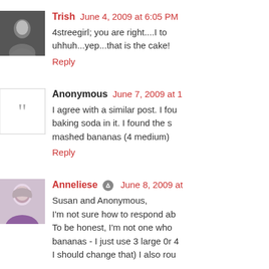[Figure (photo): Avatar photo of Trish - black and white photo of a person]
Trish June 4, 2009 at 6:05 PM
4streegirl; you are right....I to uhhuh...yep...that is the cake!
Reply
[Figure (photo): Anonymous avatar placeholder with quotation mark]
Anonymous June 7, 2009 at 1
I agree with a similar post. I fou baking soda in it. I found the s mashed bananas (4 medium)
Reply
[Figure (photo): Avatar photo of Anneliese - woman with gray hair]
Anneliese [edit icon] June 8, 2009 at
Susan and Anonymous,
I'm not sure how to respond ab
To be honest, I'm not one who
bananas - I just use 3 large 0r 4
I should change that) I also rou